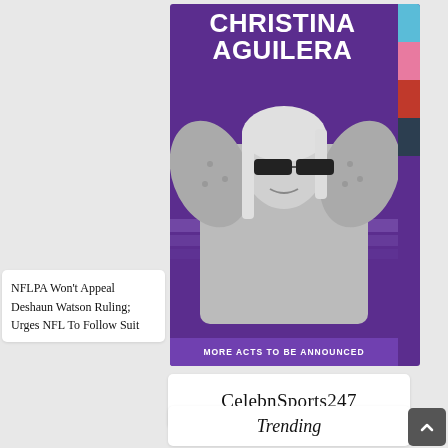[Figure (photo): Concert promotion image for Christina Aguilera featuring artist in black and white wearing snakeskin outfit and sunglasses, on purple background with 'MORE ACTS TO BE ANNOUNCED' banner]
CelebnSports247
NFLPA Won't Appeal Deshaun Watson Ruling; Urges NFL To Follow Suit
Trending